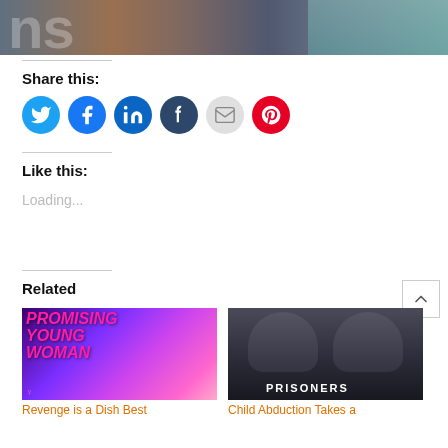[Figure (photo): Partial image at top of page showing letters 'ns' in light color on a dark background, with what appears to be a wooden door or cabinet and a person in teal/blue visible on the right side.]
Share this:
[Figure (infographic): Row of six social media sharing buttons as colored circles: Twitter (blue bird), Facebook (blue f), LinkedIn (blue in), Tumblr (dark blue t), Email (grey envelope), Pinterest (red P)]
Like this:
Loading...
Related
[Figure (photo): Movie poster for 'Promising Young Woman' with pink neon-style text on a purple/pink background]
Revenge is a Dish Best
[Figure (photo): Movie poster for 'Prisoners' showing dark atmospheric image of two male faces and the word PRISONERS at the bottom]
Child Abduction Takes a